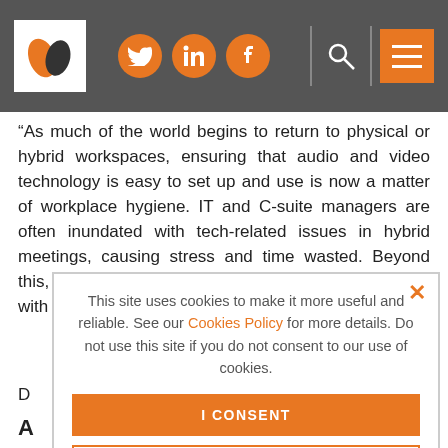Navigation header with logo, social icons (Twitter, LinkedIn, Facebook), search icon, and menu button
“As much of the world begins to return to physical or hybrid workspaces, ensuring that audio and video technology is easy to set up and use is now a matter of workplace hygiene. IT and C-suite managers are often inundated with tech-related issues in hybrid meetings, causing stress and time wasted. Beyond this, we need to ensure that workers are equipped with the resources necessary to reduce cognitive o… is… fo… in… re…
This site uses cookies to make it more useful and reliable. See our Cookies Policy for more details. Do not use this site if you do not consent to our use of cookies.
I CONSENT
SEE COOKIE POLICY
D… A F E…